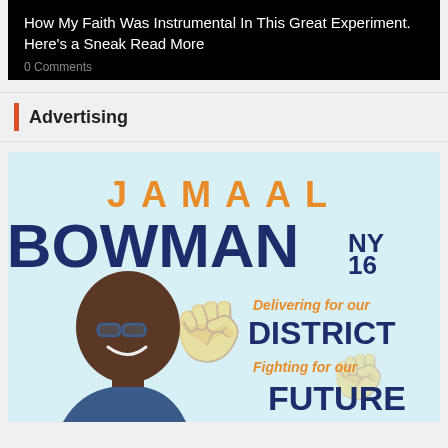How My Faith Was Instrumental In This Great Experiment. Here's a Sneak Read More
0 Comments
Advertising
[Figure (illustration): Political advertisement for Jamaal Bowman NY16. Light blue background with orange 'JAMAAL' text, dark navy 'BOWMAN NY 16' text, a photo of Jamal Bowman smiling, and text reading 'Delivering for our DISTRICT Fighting for our FUTURE']